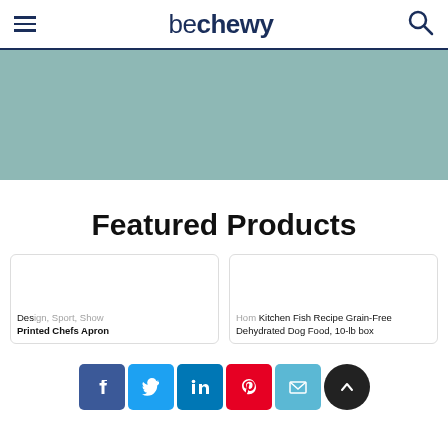be chewy
[Figure (other): Teal/sage colored banner image area]
Featured Products
[Figure (other): Product card: Design, Sport, Show Printed Chefs Apron with broken image icon]
Printed Chefs Apron
[Figure (other): Product card: Hom Kitchen Fish Recipe Grain-Free Dehydrated Dog Food, 10-lb box with broken image icon]
Hom Kitchen Fish Recipe Grain-Free Dehydrated Dog Food, 10-lb box